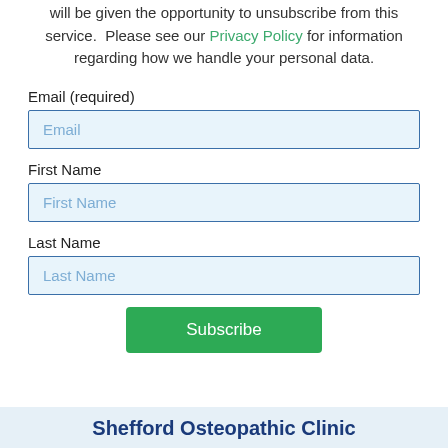will be given the opportunity to unsubscribe from this service.  Please see our Privacy Policy for information regarding how we handle your personal data.
Email (required)
Email
First Name
First Name
Last Name
Last Name
Subscribe
Shefford Osteopathic Clinic